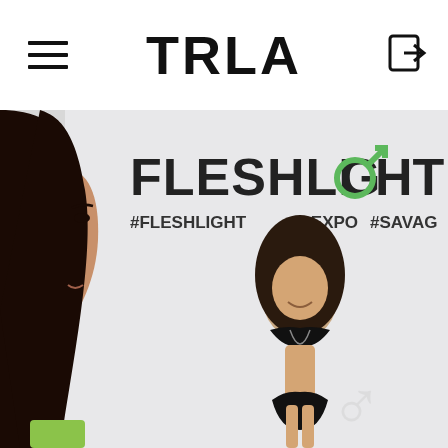TRLA
[Figure (photo): Selfie photo of a woman with dark hair in the foreground, with a Fleshlight branded backdrop behind her showing a model in a black bikini. The backdrop has text: FLESHLIGHT, #FLESHLIGHT, #SEXPO, #SAVAG (partially visible)]